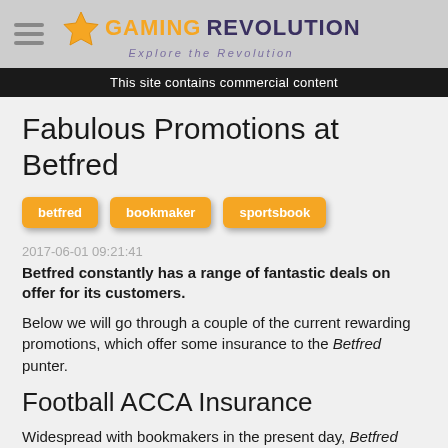Gaming Revolution — Explore the Revolution
This site contains commercial content
Fabulous Promotions at Betfred
betfred
bookmaker
sportsbook
2017-06-01 09:21:41
Betfred constantly has a range of fantastic deals on offer for its customers.
Below we will go through a couple of the current rewarding promotions, which offer some insurance to the Betfred punter.
Football ACCA Insurance
Widespread with bookmakers in the present day, Betfred